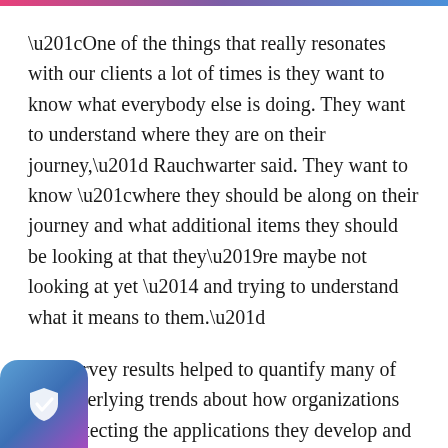“One of the things that really resonates with our clients a lot of times is they want to know what everybody else is doing. They want to understand where they are on their journey,” Rauchwarter said. They want to know “where they should be along on their journey and what additional items they should be looking at that they’re maybe not looking at yet — and trying to understand what it means to them.”
The survey results helped to quantify many of the underlying trends about how organizations are protecting the applications they develop and deploy cloud native deployments. One of the key findings the survey result reflected was “regardless
[Figure (logo): Shield icon with checkmark, gradient blue-purple background, rounded square badge in bottom-left corner]